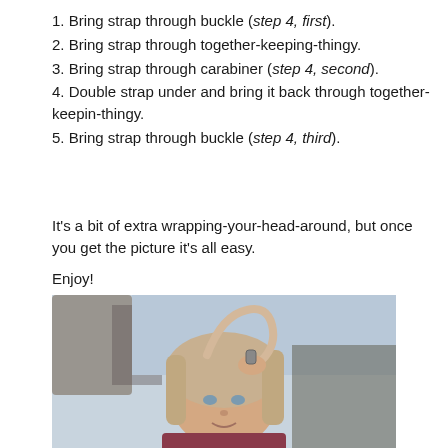1. Bring strap through buckle (step 4, first).
2. Bring strap through together-keeping-thingy.
3. Bring strap through carabiner (step 4, second).
4. Double strap under and bring it back through together-keepin-thingy.
5. Bring strap through buckle (step 4, third).
It's a bit of extra wrapping-your-head-around, but once you get the picture it's all easy.
Enjoy!
[Figure (photo): A young blonde woman holding up a strap/bag strap outdoors, looking at the camera with a slight smile. Background shows a blurred outdoor scene.]